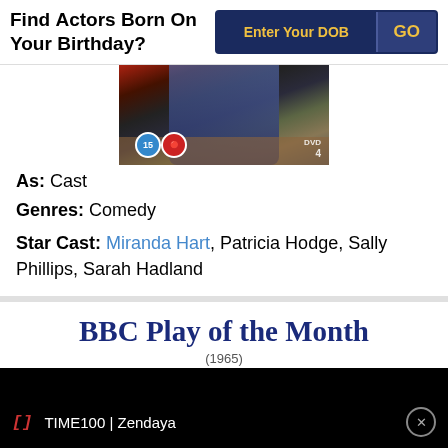Find Actors Born On Your Birthday?
Enter Your DOB | GO
[Figure (photo): DVD cover image showing person lying on floor, with age rating badges (15) and DVD4 logo]
As: Cast
Genres: Comedy
Star Cast: Miranda Hart, Patricia Hodge, Sally Phillips, Sarah Hadland
BBC Play of the Month
(1965)
TIME100 | Zendaya